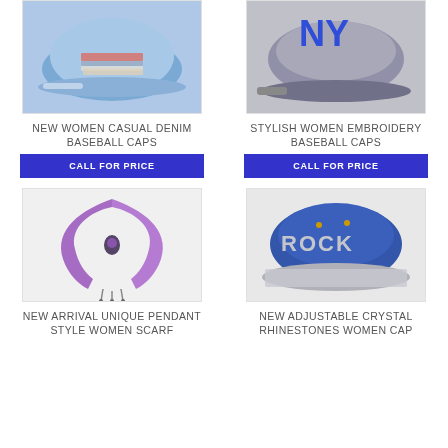[Figure (photo): Light blue denim baseball cap with American flag patch, laid on magazines]
[Figure (photo): Gray and blue embroidery baseball cap with blue letters on brim]
NEW WOMEN CASUAL DENIM BASEBALL CAPS
CALL FOR PRICE
STYLISH WOMEN EMBROIDERY BASEBALL CAPS
CALL FOR PRICE
[Figure (photo): Purple knitted scarf with pendant and tassel jewelry style]
[Figure (photo): Dark denim baseball cap with ROCK letters in rhinestones on brim]
NEW ARRIVAL UNIQUE PENDANT STYLE WOMEN SCARF
NEW ADJUSTABLE CRYSTAL RHINESTONES WOMEN CAP